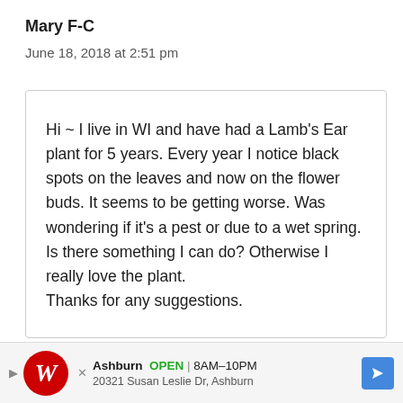Mary F-C
June 18, 2018 at 2:51 pm
Hi ~ I live in WI and have had a Lamb's Ear plant for 5 years. Every year I notice black spots on the leaves and now on the flower buds. It seems to be getting worse. Was wondering if it's a pest or due to a wet spring. Is there something I can do? Otherwise I really love the plant.
Thanks for any suggestions.
Ashburn  OPEN | 8AM–10PM
20321 Susan Leslie Dr, Ashburn